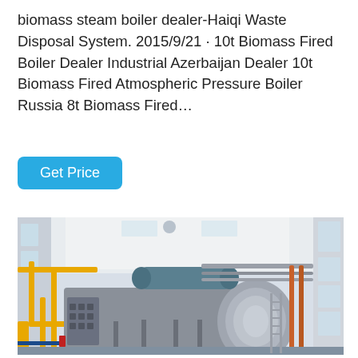biomass steam boiler dealer-Haiqi Waste Disposal System. 2015/9/21 · 10t Biomass Fired Boiler Dealer Industrial Azerbaijan Dealer 10t Biomass Fired Atmospheric Pressure Boiler Russia 8t Biomass Fired…
Get Price
[Figure (photo): Industrial boiler room showing a large horizontal cylindrical biomass steam boiler with grey casing, yellow pipes on the left, copper/red pipes on the right, a metal ladder leaning against the boiler, and large windows in a white-walled factory building.]